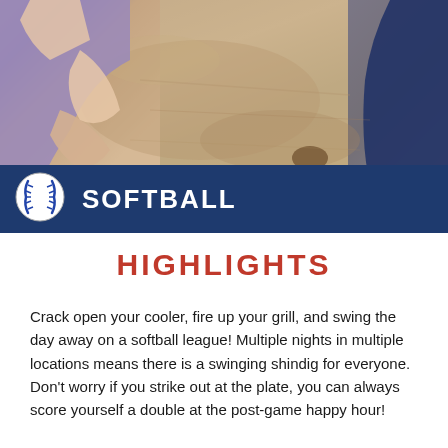[Figure (photo): Softball players on a dirt field, one player bending down toward the ground, another player in dark blue uniform on the right side]
SOFTBALL
HIGHLIGHTS
Crack open your cooler, fire up your grill, and swing the day away on a softball league! Multiple nights in multiple locations means there is a swinging shindig for everyone. Don't worry if you strike out at the plate, you can always score yourself a double at the post-game happy hour!